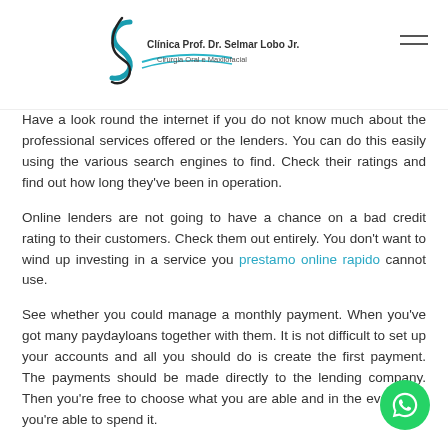Clínica Prof. Dr. Selmar Lobo Jr. — Cirurgia Oral e Maxilofacial
Have a look round the internet if you do not know much about the professional services offered or the lenders. You can do this easily using the various search engines to find. Check their ratings and find out how long they've been in operation.
Online lenders are not going to have a chance on a bad credit rating to their customers. Check them out entirely. You don't want to wind up investing in a service you prestamo online rapido cannot use.
See whether you could manage a monthly payment. When you've got many paydayloans together with them. It is not difficult to set up your accounts and all you should do is create the first payment. The payments should be made directly to the lending company. Then you're free to choose what you are able and in the event that you're able to spend it.
Make sure you track the day and number of their payments every month. Find out when you are earning